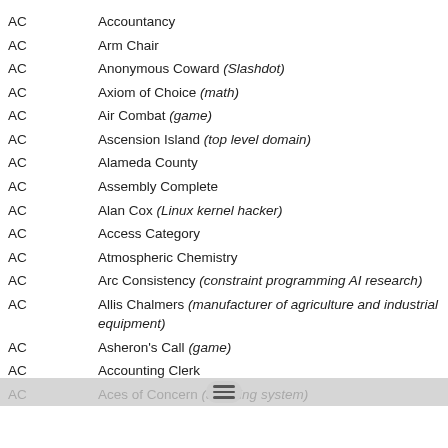AC   Accountancy
AC   Arm Chair
AC   Anonymous Coward (Slashdot)
AC   Axiom of Choice (math)
AC   Air Combat (game)
AC   Ascension Island (top level domain)
AC   Alameda County
AC   Assembly Complete
AC   Alan Cox (Linux kernel hacker)
AC   Access Category
AC   Atmospheric Chemistry
AC   Arc Consistency (constraint programming AI research)
AC   Allis Chalmers (manufacturer of agriculture and industrial equipment)
AC   Asheron's Call (game)
AC   Accounting Clerk
AC   Aces of Concern (accounting system)